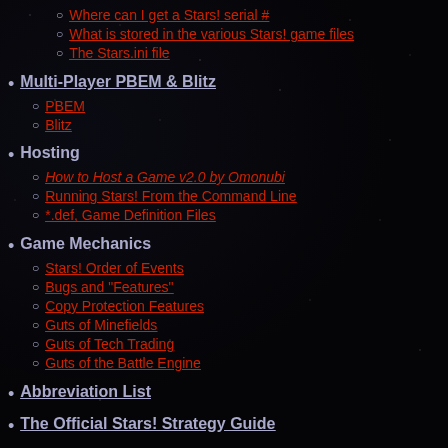Where can I get a Stars! serial #
What is stored in the various Stars! game files
The Stars.ini file
Multi-Player PBEM & Blitz
PBEM
Blitz
Hosting
How to Host a Game v2.0 by Omonubi
Running Stars! From the Command Line
*.def, Game Definition Files
Game Mechanics
Stars! Order of Events
Bugs and "Features"
Copy Protection Features
Guts of Minefields
Guts of Tech Trading
Guts of the Battle Engine
Abbreviation List
The Official Stars! Strategy Guide